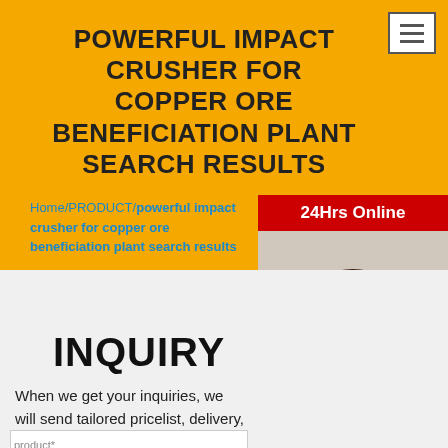POWERFUL IMPACT CRUSHER FOR COPPER ORE BENEFICIATION PLANT SEARCH RESULTS
Home/PRODUCT/powerful impact crusher for copper ore beneficiation plant search results
[Figure (photo): Customer service representative woman wearing headset, with 24Hrs Online badge and sidebar panel showing Need questions & suggestion?, Chat Now button, Enquiry, limingjlmofen]
INQUIRY
When we get your inquiries, we will send tailored pricelist, delivery, payment terms and other requirements by email within 24 hours.
product*